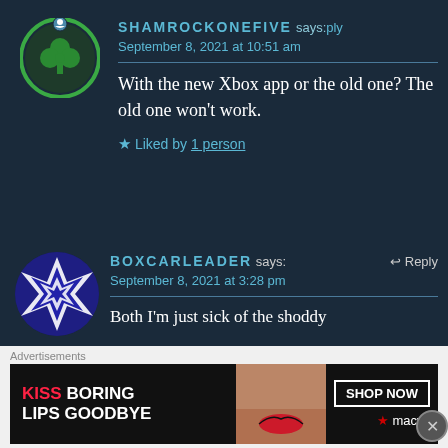[Figure (illustration): Circular avatar with shamrock/clover icon, teal circle border, dark teal background, with small blue user icon at top]
SHAMROCKONEFIVE says: Reply
September 8, 2021 at 10:51 am
With the new Xbox app or the old one? The old one won't work.
★ Liked by 1 person
[Figure (illustration): Circular avatar with geometric blue and white star/snowflake pattern on dark blue background]
BOXCARLEADER says:   ↩ Reply
September 8, 2021 at 3:28 pm
Both I'm just sick of the shoddy
Advertisements
KISS BORING LIPS GOODBYE   SHOP NOW   ★macys